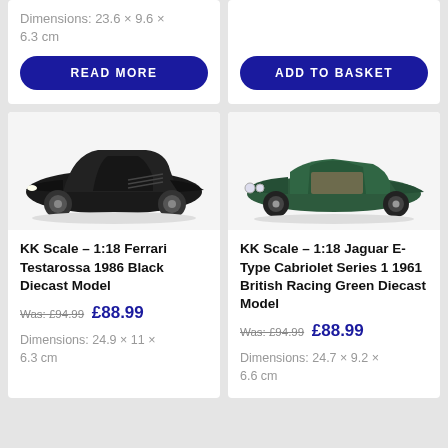Dimensions: 23.6 × 9.6 × 6.3 cm
READ MORE
ADD TO BASKET
[Figure (photo): Black Ferrari Testarossa 1986 diecast model car, 1:18 scale, shown at three-quarter front angle on white background]
KK Scale – 1:18 Ferrari Testarossa 1986 Black Diecast Model
Was: £94.99  £88.99
Dimensions: 24.9 × 11 × 6.3 cm
[Figure (photo): Dark British Racing Green Jaguar E-Type Cabriolet Series 1 1961 diecast model car, 1:18 scale, convertible open top, shown at three-quarter front angle on white background]
KK Scale – 1:18 Jaguar E-Type Cabriolet Series 1 1961 British Racing Green Diecast Model
Was: £94.99  £88.99
Dimensions: 24.7 × 9.2 × 6.6 cm